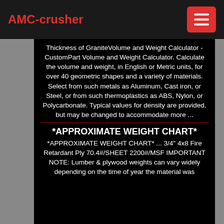AMC-crusher
Thickness of GraniteVolume and Weight Calculator - CustomPart Volume and Weight Calculator. Calculate the volume and weight, in English or Metric units, for over 40 geometric shapes and a variety of materials. Select from such metals as Aluminum, Cast iron, or Steel, or from such thermoplastics as ABS, Nylon, or Polycarbonate. Typical values for density are provided, but may be changed to accommodate more ...
*APPROXIMATE WEIGHT CHART*
*APPROXIMATE WEIGHT CHART* ... 3/4" 4x8 Fire Retardant Ply 70.4#/SHEET 2200#/MSF IMPORTANT NOTE: Lumber & plywood weights can vary widely depending on the time of year the material was